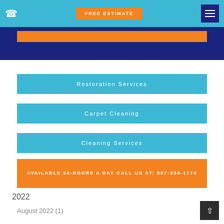FREE ESTIMATE
Restoration Services
Carpet Cleaning
Cleaning Services
AVAILABLE 24-HOURS A DAY CALL US AT: 507-334-1774
2022
August 2022 (1)